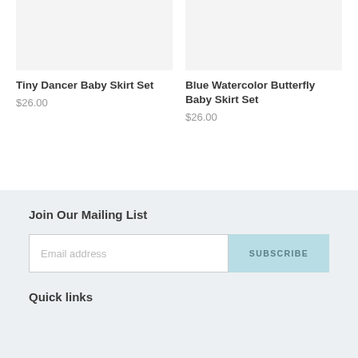[Figure (photo): Product image placeholder for Tiny Dancer Baby Skirt Set (light gray background)]
Tiny Dancer Baby Skirt Set
$26.00
[Figure (photo): Product image placeholder for Blue Watercolor Butterfly Baby Skirt Set (light gray background)]
Blue Watercolor Butterfly Baby Skirt Set
$26.00
Join Our Mailing List
Email address
SUBSCRIBE
Quick links